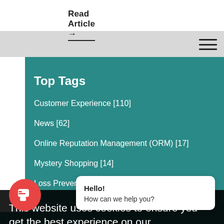Read Article →
[Figure (other): Hamburger menu icon with three horizontal lines]
Top Tags
Customer Experience [110]
News [62]
Online Reputation Management (ORM) [17]
Mystery Shopping [14]
Loss Prevention and Compliance [12]
Customer Service [10]
Industry News [3]
Customer Surveys [2]
This website uses cookies to ensure you get the best experience on our website. Learn More
Hello!
How can we help you?